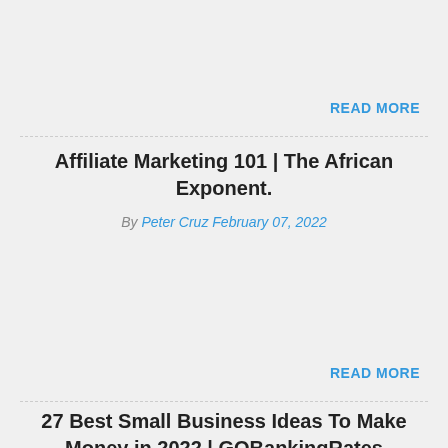READ MORE
Affiliate Marketing 101 | The African Exponent.
By Peter Cruz February 07, 2022
READ MORE
27 Best Small Business Ideas To Make Money in 2022 | GOBankingRates